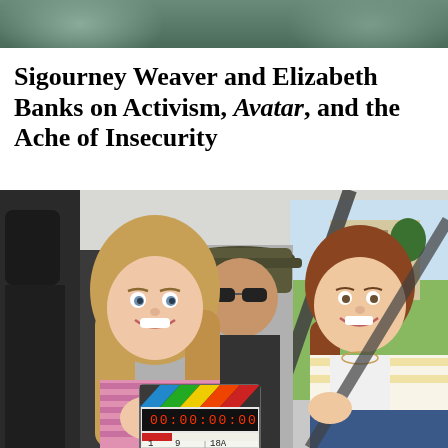[Figure (photo): Top portion of a photo showing people, cropped at the top of the page]
Sigourney Weaver and Elizabeth Banks on Activism, Avatar, and the Ache of Insecurity
[Figure (photo): Three people seated inside a vehicle: a young woman with long blonde hair holding a film clapperboard (showing 18A, 9, 23.98, JEFF BARNA), a man in a cap in the background, and an older woman with auburn hair smiling on the right. A park with a mansion and palm trees is visible through the window.]